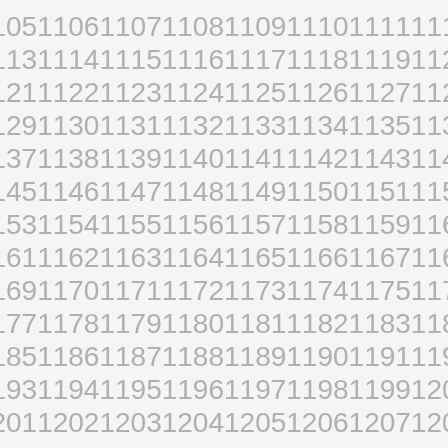11051106110711081109111011111112
11131114111511161117111811191120
11211122112311241125112611271128
11291130113111321133113411351136
11371138113911401141114211431144
11451146114711481149115011511152
11531154115511561157115811591160
11611162116311641165116611671168
11691170117111721173117411751176
11771178117911801181118211831184
11851186118711881189119011911192
11931194119511961197119811991200
12011202120312041205120612071208